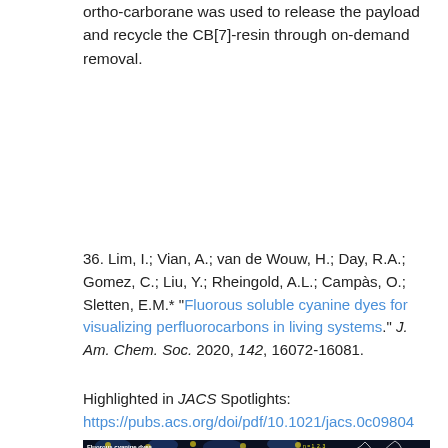ortho-carborane was used to release the payload and recycle the CB[7]-resin through on-demand removal.
36. Lim, I.; Vian, A.; van de Wouw, H.; Day, R.A.; Gomez, C.; Liu, Y.; Rheingold, A.L.; Campàs, O.; Sletten, E.M.* "Fluorous soluble cyanine dyes for visualizing perfluorocarbons in living systems." J. Am. Chem. Soc. 2020, 142, 16072-16081.
Highlighted in JACS Spotlights:
https://pubs.acs.org/doi/pdf/10.1021/jacs.0c09804
[Figure (photo): Scientific image showing fluorous cyanine dyes with chemical structures overlaid on a fluorescence microscopy image of cells. Left side shows molecular structure of cyanine dye with F13C6 and F13C8 fluorocarbon chains. Right side shows fluorescence peaks labeled n=1, 2, 3 against a background of blue and yellow fluorescent cells.]